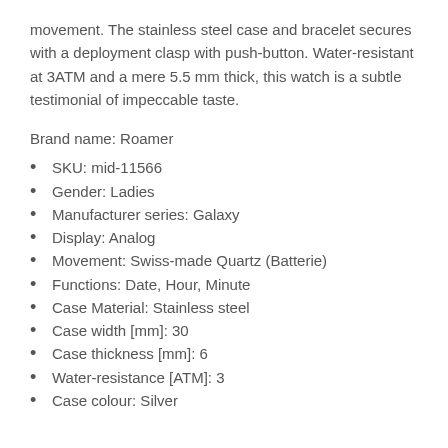movement. The stainless steel case and bracelet secures with a deployment clasp with push-button. Water-resistant at 3ATM and a mere 5.5 mm thick, this watch is a subtle testimonial of impeccable taste.
Brand name: Roamer
SKU: mid-11566
Gender: Ladies
Manufacturer series: Galaxy
Display: Analog
Movement: Swiss-made Quartz (Batterie)
Functions: Date, Hour, Minute
Case Material: Stainless steel
Case width [mm]: 30
Case thickness [mm]: 6
Water-resistance [ATM]: 3
Case colour: Silver